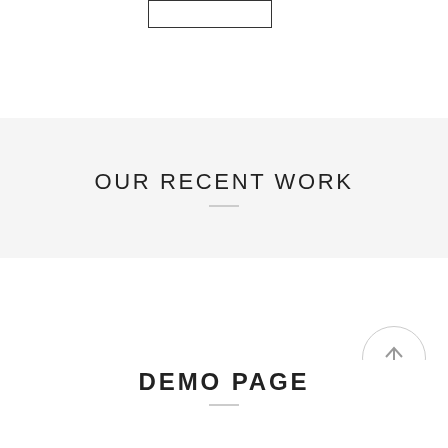[Figure (other): A rectangular outlined box near the top-left area of the page]
OUR RECENT WORK
DEMO PAGE